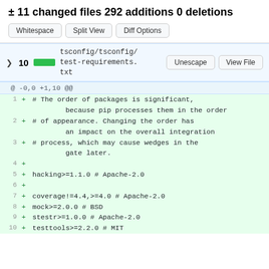± 11 changed files 292 additions 0 deletions
[Figure (screenshot): Buttons: Whitespace, Split View, Diff Options]
tsconfig/tsconfig/test-requirements.txt  Unescape  View File
@ -0,0 +1,10 @@
1  +  # The order of packages is significant, because pip processes them in the order
2  +  # of appearance. Changing the order has an impact on the overall integration
3  +  # process, which may cause wedges in the gate later.
4  +
5  +  hacking>=1.1.0 # Apache-2.0
6  +
7  +  coverage!=4.4,>=4.0 # Apache-2.0
8  +  mock>=2.0.0 # BSD
9  +  stestr>=1.0.0 # Apache-2.0
10  +  testtools>=2.2.0 # MIT